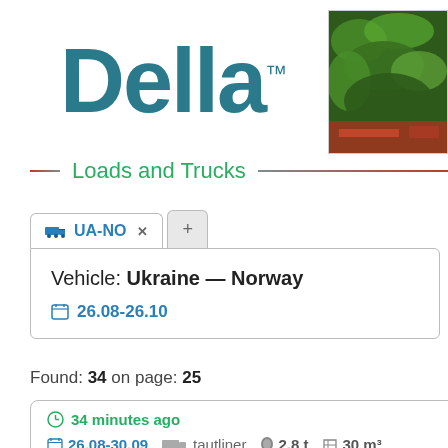Della™
[Figure (photo): Photo showing green foliage/plants with a red vehicle or machinery partially visible at the bottom]
Loads and Trucks
UA-NO
Vehicle: Ukraine — Norway
26.08-26.10
Found: 34 on page: 25
34 minutes ago
26.08-30.09   tautliner   2,8 t   30 m³